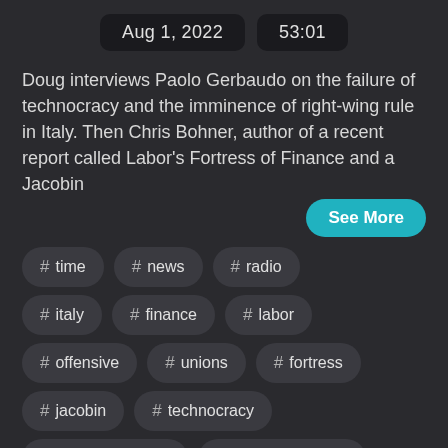Aug 1, 2022   53:01
Doug interviews Paolo Gerbaudo on the failure of technocracy and the imminence of right-wing rule in Italy. Then Chris Bohner, author of a recent report called Labor's Fortress of Finance and a Jacobin
See More
# time
# news
# radio
# italy
# finance
# labor
# offensive
# unions
# fortress
# jacobin
# technocracy
doug henwood
# behind the news